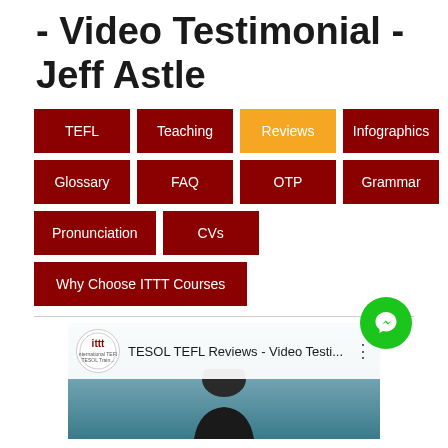- Video Testimonial - Jeff Astle
[Figure (screenshot): Navigation menu with colored buttons: TEFL, Teaching, Reviews (orange/active), Infographics, Glossary, FAQ, OTP, Grammar, Pronunciation, CVs, Why Choose ITTT Courses]
[Figure (screenshot): Video thumbnail showing TESOL TEFL Reviews - Video Testimonial with ITTT logo, person silhouette, and messenger icon overlay]